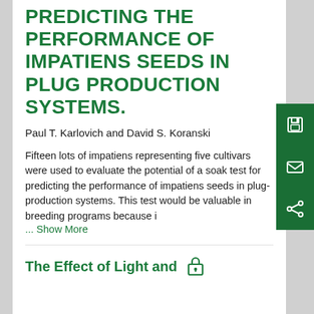PREDICTING THE PERFORMANCE OF IMPATIENS SEEDS IN PLUG PRODUCTION SYSTEMS.
Paul T. Karlovich and David S. Koranski
Fifteen lots of impatiens representing five cultivars were used to evaluate the potential of a soak test for predicting the performance of impatiens seeds in plug-production systems. This test would be valuable in breeding programs because i
... Show More
The Effect of Light and